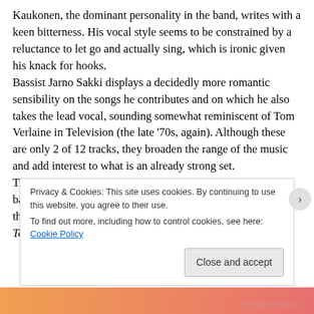Kaukonen, the dominant personality in the band, writes with a keen bitterness. His vocal style seems to be constrained by a reluctance to let go and actually sing, which is ironic given his knack for hooks.
Bassist Jarno Sakki displays a decidedly more romantic sensibility on the songs he contributes and on which he also takes the lead vocal, sounding somewhat reminiscent of Tom Verlaine in Television (the late '70s, again). Although these are only 2 of 12 tracks, they broaden the range of the music and add interest to what is an already strong set.
The straightforward quality of the recording itself suits the band well; they sound fresh and relaxed, in full command of their material. A couple of the songs on Entitled Nameless, Tell
Privacy & Cookies: This site uses cookies. By continuing to use this website, you agree to their use.
To find out more, including how to control cookies, see here: Cookie Policy
Close and accept